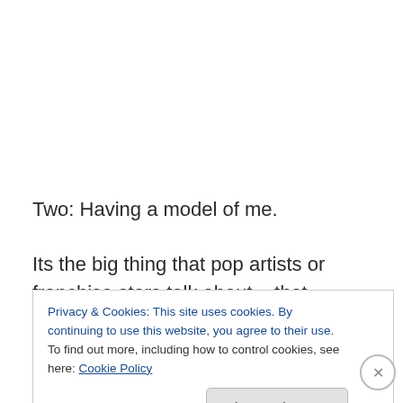Two: Having a model of me.
Its the big thing that pop artists or franchise stars talk about – that moment when they get so famous they have a fully representative model made.  Phil's already been working at this with 3 D printing but I'm not sure we are at the point yet where we could actually sell some.
Privacy & Cookies: This site uses cookies. By continuing to use this website, you agree to their use.
To find out more, including how to control cookies, see here: Cookie Policy
Close and accept